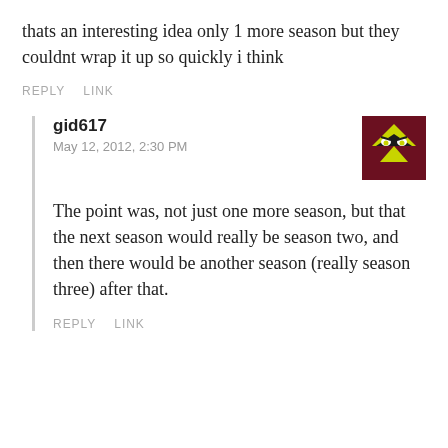thats an interesting idea only 1 more season but they couldnt wrap it up so quickly i think
REPLY   LINK
gid617
May 12, 2012, 2:30 PM
The point was, not just one more season, but that the next season would really be season two, and then there would be another season (really season three) after that.
REPLY   LINK